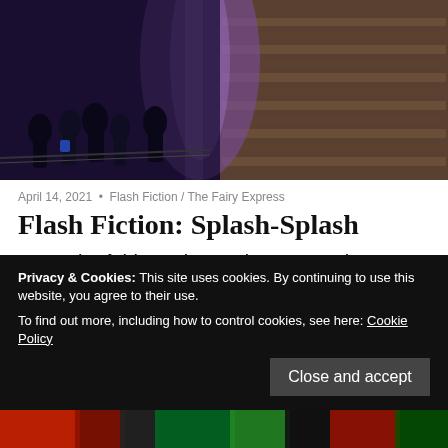[Figure (photo): Dark museum or exhibition corridor with purple/violet lighting, stone walls with layered texture on the right, silhouettes of visitors on the left side]
April 14, 2021  •  Flash Fiction / The Fairy Express
Flash Fiction: Splash-Splash
Note:The fairies, Blue and Brown make a return. They also star in Doo-Doo Day. *~* Blue yawned and
Privacy & Cookies: This site uses cookies. By continuing to use this website, you agree to their use.
To find out more, including how to control cookies, see here: Cookie Policy
[Figure (photo): Bottom strip showing colorful stained glass or illuminated art with red, green and black tones]